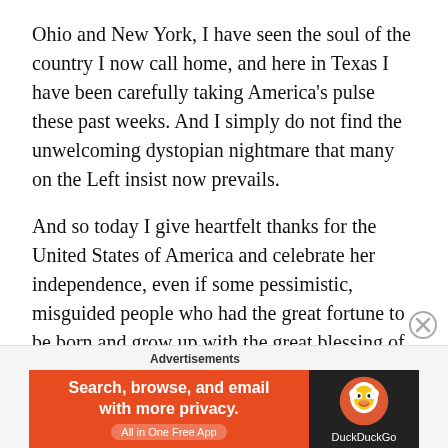Ohio and New York, I have seen the soul of the country I now call home, and here in Texas I have been carefully taking America's pulse these past weeks. And I simply do not find the unwelcoming dystopian nightmare that many on the Left insist now prevails.
And so today I give heartfelt thanks for the United States of America and celebrate her independence, even if some pessimistic, misguided people who had the great fortune to be born and grow up with the great blessing of American citizenship sadly feel unable to join me.
Advertisements
[Figure (other): DuckDuckGo advertisement banner: orange left panel with text 'Search, browse, and email with more privacy. All in One Free App' and dark right panel with DuckDuckGo duck logo and brand name.]